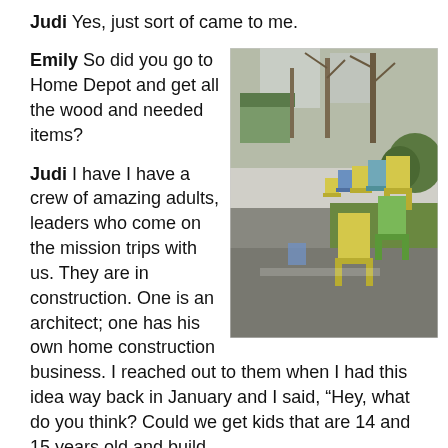Judi Yes, just sort of came to me.
Emily So did you go to Home Depot and get all the wood and needed items?
[Figure (photo): A row of colorful Adirondack-style chairs in yellow, blue, and green lined up along a driveway next to a lawn, with bare trees and a green house in the background.]
Judi I have I have a crew of amazing adults, leaders who come on the mission trips with us. They are in construction. One is an architect; one has his own home construction business. I reached out to them when I had this idea way back in January and I said, “Hey, what do you think? Could we get kids that are 14 and 15 years old and build